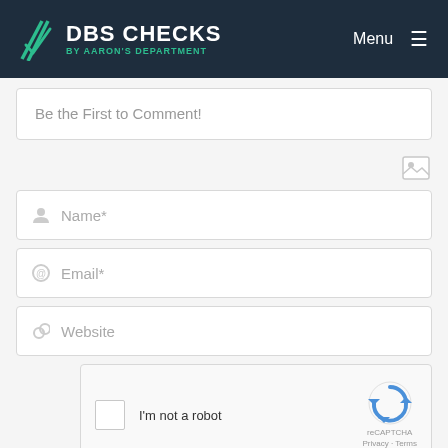DBS CHECKS BY AARON'S DEPARTMENT | Menu
Be the First to Comment!
[Figure (illustration): Image/photo icon button]
Name*
Email*
Website
[Figure (infographic): reCAPTCHA widget with checkbox labeled I'm not a robot, reCAPTCHA logo, Privacy and Terms links]
Post Comment